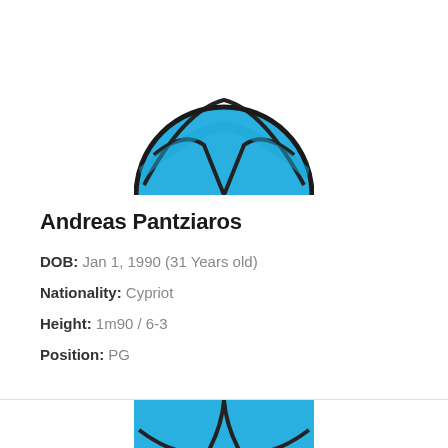[Figure (illustration): Top portion of a blue basketball icon (cropped, showing upper half) with black panel lines on blue background]
Andreas Pantziaros
DOB: Jan 1, 1990 (31 Years old)
Nationality: Cypriot
Height: 1m90 / 6-3
Position: PG
[Figure (illustration): Top portion of another blue basketball icon (cropped, showing upper portion) with black panel lines on blue background]